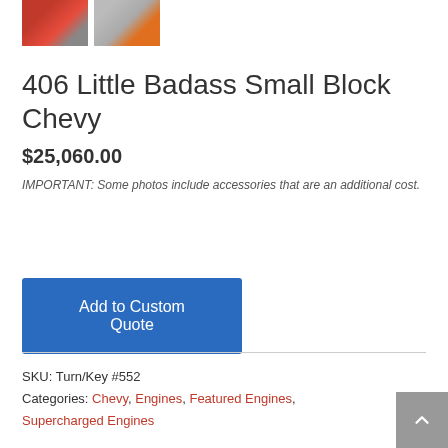[Figure (photo): Two small product thumbnail photos of an engine, side by side at top of page]
406 Little Badass Small Block Chevy
$25,060.00
IMPORTANT: Some photos include accessories that are an additional cost.
Add to Custom Quote
SKU: Turn/Key #552
Categories: Chevy, Engines, Featured Engines, Supercharged Engines